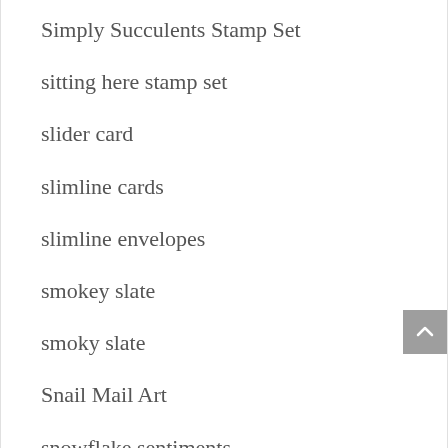Simply Succulents Stamp Set
sitting here stamp set
slider card
slimline cards
slimline envelopes
smokey slate
smoky slate
Snail Mail Art
snowflake sentiments
Snowflakes and Stars Wire Elements